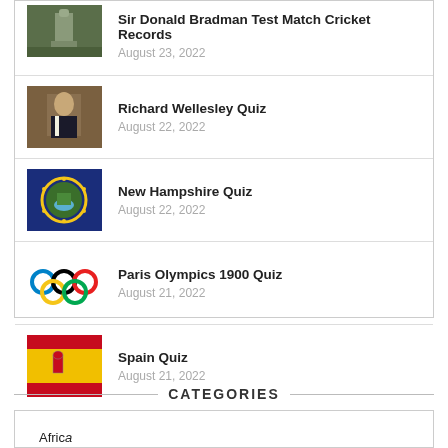Sir Donald Bradman Test Match Cricket Records — August 23, 2022
Richard Wellesley Quiz — August 22, 2022
New Hampshire Quiz — August 22, 2022
Paris Olympics 1900 Quiz — August 21, 2022
Spain Quiz — August 21, 2022
CATEGORIES
Africa